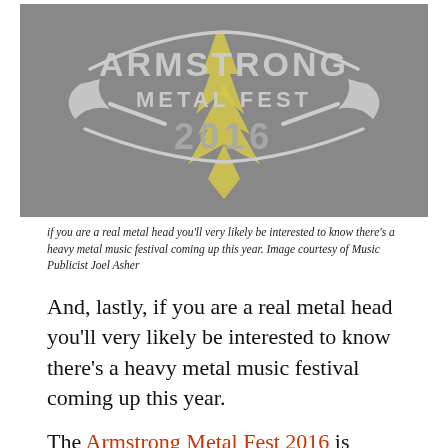[Figure (logo): Armstrong Metal Fest 2016 logo — white and gold emblem with stylized text on grey background]
if you are a real metal head you'll very likely be interested to know there's a heavy metal music festival coming up this year. Image courtesy of Music Publicist Joel Asher
And, lastly, if you are a real metal head you'll very likely be interested to know there's a heavy metal music festival coming up this year.
The Armstrong Metal Fest 2016 is being held July 15-16 at the...